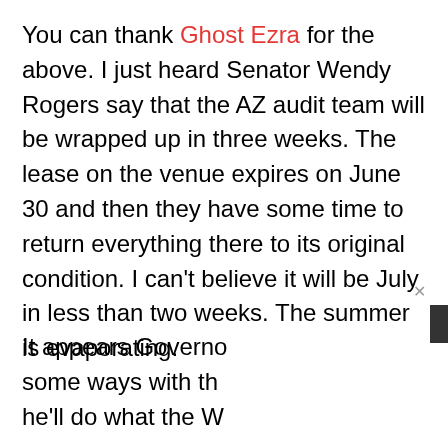You can thank Ghost Ezra for the above. I just heard Senator Wendy Rogers say that the AZ audit team will be wrapped up in three weeks. The lease on the venue expires on June 30 and then they have some time to return everything there to its original condition. I can't believe it will be July in less than two weeks. The summer is evaporating.
It appears Governo... some ways with th... he'll do what the W...
[Figure (screenshot): A dark/black video player overlay with a JSV label box and three dots (small, medium, large) visible on a black background]
...partial bottom text cut off